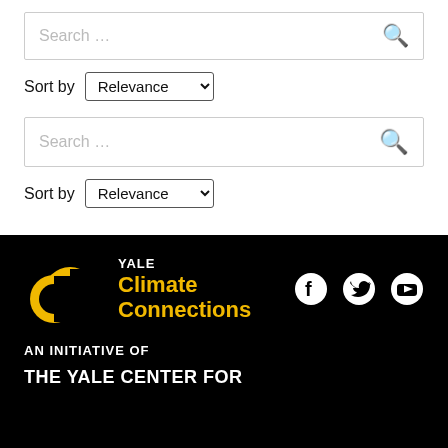[Figure (screenshot): Search bar with placeholder text 'Search ...' and a search icon on the right]
Sort by Relevance
[Figure (screenshot): Second search bar with placeholder text 'Search ...' and a search icon on the right]
Sort by Relevance
[Figure (logo): Yale Climate Connections logo with double C graphic in gold on black background, with Facebook, Twitter, and YouTube social icons]
AN INITIATIVE OF
THE YALE CENTER FOR